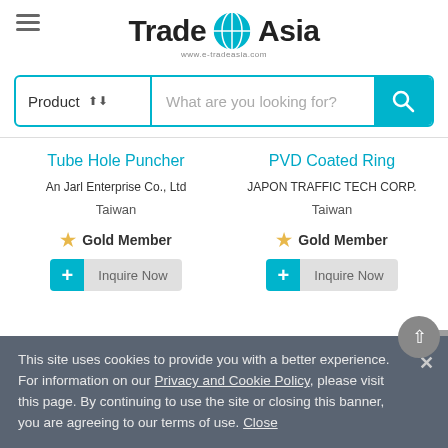[Figure (logo): TradeAsia logo with globe icon and website URL www.e-tradeasia.com]
[Figure (screenshot): Search bar with Product dropdown selector and 'What are you looking for?' placeholder, teal search button with magnifying glass icon]
Tube Hole Puncher
An Jarl Enterprise Co., Ltd
Taiwan
Gold Member
Inquire Now
PVD Coated Ring
JAPON TRAFFIC TECH CORP.
Taiwan
Gold Member
Inquire Now
This site uses cookies to provide you with a better experience. For information on our Privacy and Cookie Policy, please visit this page. By continuing to use the site or closing this banner, you are agreeing to our terms of use. Close